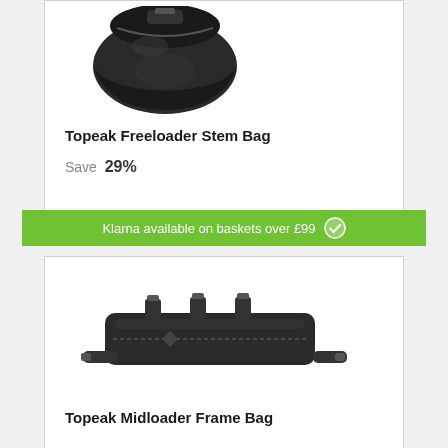[Figure (photo): Topeak Freeloader Stem Bag product photo - black handlebar bag]
Topeak Freeloader Stem Bag
Save 29%
Klarna available on baskets over £99
[Figure (photo): Topeak Midloader Frame Bag product photo - black frame bag]
Topeak Midloader Frame Bag